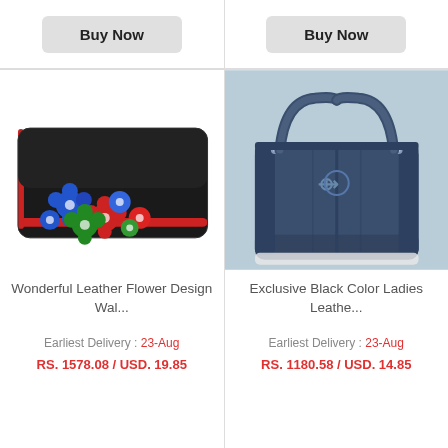[Figure (other): Buy Now button (top left)]
[Figure (other): Buy Now button (top right)]
[Figure (photo): Black leather wallet with colorful flower design (blue, red, green flowers) on a white background]
Wonderful Leather Flower Design Wal...
Earliest Delivery : 23-Aug
RS. 1578.08 / USD. 19.85
[Figure (photo): Dark navy blue leather tote handbag with double handles, on light blue-grey background]
Exclusive Black Color Ladies Leathe...
Earliest Delivery : 23-Aug
RS. 1180.58 / USD. 14.85